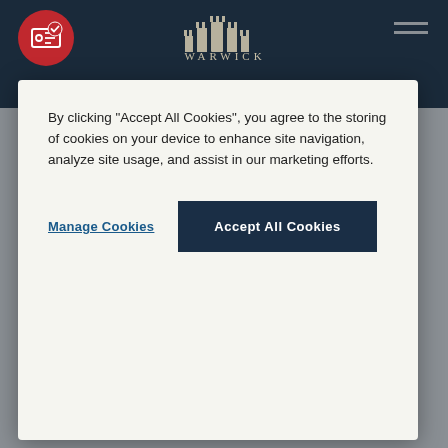[Figure (screenshot): Warwick Castle website header with dark navy background, red circular ticket/coupon icon on left, Warwick Castle logo in center, hamburger menu icon on right]
By clicking “Accept All Cookies”, you agree to the storing of cookies on your device to enhance site navigation, analyze site usage, and assist in our marketing efforts.
Manage Cookies
Accept All Cookies
Cookies & Privacy
This web site is owned and run by Warwick Castle as agent for and on behalf of Merlin Attractions Operations Limited. Warwick Castle recognises that your privacy is important, and is committed to preserving it. This policy sets out our